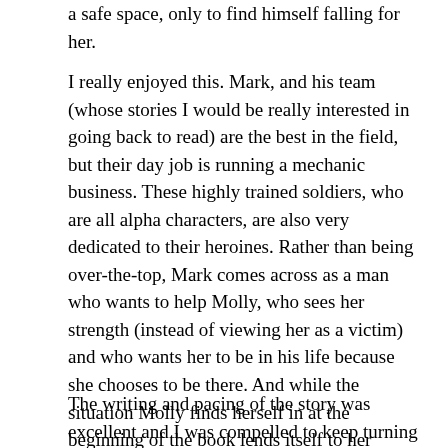a safe space, only to find himself falling for her.
I really enjoyed this. Mark, and his team (whose stories I would be really interested in going back to read) are the best in the field, but their day job is running a mechanic business. These highly trained soldiers, who are all alpha characters, are also very dedicated to their heroines. Rather than being over-the-top, Mark comes across as a man who wants to help Molly, who sees her strength (instead of viewing her as a victim) and who wants her to be in his life because she chooses to be there. And while the situation Molly finds herself in at the beginning of the book lends itself to her being the ‘damsel,’ she’s really not. She’s tough, determined and independent, but she doesn’t outright reject Mark’s help, which was a nice change.
The writing and pacing of the story was excellent and I was compelled to keep turning the pages to find out